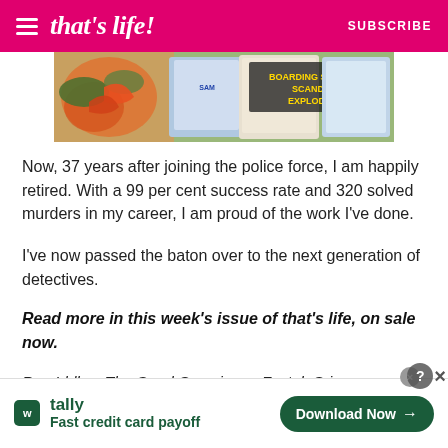that's life! — SUBSCRIBE
[Figure (photo): Magazine advertisement banner showing food and magazine covers with text 'BOARDING SCHOOL SCANDAL EXPLODES!']
Now, 37 years after joining the police force, I am happily retired. With a 99 per cent success rate and 320 solved murders in my career, I am proud of the work I've done.
I've now passed the baton over to the next generation of detectives.
Read more in this week's issue of that's life, on sale now.
Ron Iddles: The Good Cop airs on Foxtel: Crime + Investigation, every Thursday at 7.30pm.
[Figure (advertisement): Tally app advertisement: 'Fast credit card payoff' with Download Now button]